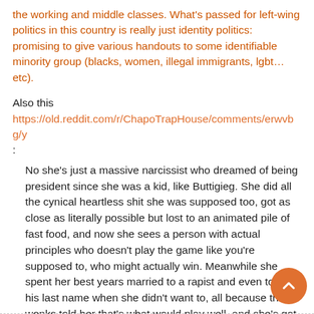the working and middle classes. What's passed for left-wing politics in this country is really just identity politics: promising to give various handouts to some identifiable minority group (blacks, women, illegal immigrants, lgbt… etc).
Also this https://old.reddit.com/r/ChapoTrapHouse/comments/erwvbg/y :
No she's just a massive narcissist who dreamed of being president since she was a kid, like Buttigieg. She did all the cynical heartless shit she was supposed too, got as close as literally possible but lost to an animated pile of fast food, and now she sees a person with actual principles who doesn't play the game like you're supposed to, who might actually win. Meanwhile she spent her best years married to a rapist and even took his last name when she didn't want to, all because the wonks told her that's what would play well, and she's got nothing to show for it except a faildaughter who she's molded into a genuine psycho accompanied by the fear that the reign of psychotic technocrats is coming to an end. I might feel a little sorry for her if she wasn't an unrepentant murdere